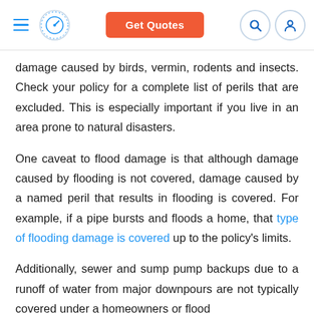Get Quotes
damage caused by birds, vermin, rodents and insects. Check your policy for a complete list of perils that are excluded. This is especially important if you live in an area prone to natural disasters.
One caveat to flood damage is that although damage caused by flooding is not covered, damage caused by a named peril that results in flooding is covered. For example, if a pipe bursts and floods a home, that type of flooding damage is covered up to the policy's limits.
Additionally, sewer and sump pump backups due to a runoff of water from major downpours are not typically covered under a homeowners or flood